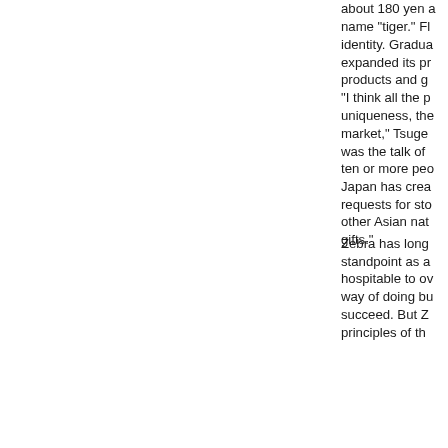about 180 yen a name “tiger.” Fl identity. Gradua expanded its pr products and g “I think all the p uniqueness, the market,” Tsuge was the talk of ten or more peo Japan has crea requests for sto other Asian nat gifts.”
Zebra has long standpoint as a hospitable to ov way of doing bu succeed. But Z principles of th